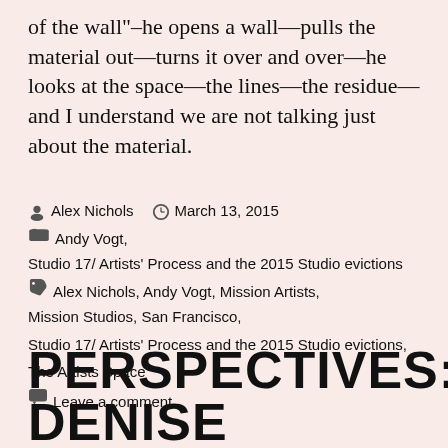of the wall"–he opens a wall—pulls the material out—turns it over and over—he looks at the space—the lines—the residue—and I understand we are not talking just about the material.
By Alex Nichols  March 13, 2015
Andy Vogt,
Studio 17/ Artists' Process and the 2015 Studio evictions
Alex Nichols, Andy Vogt, Mission Artists, Mission Studios, San Francisco, Studio 17/ Artists' Process and the 2015 Studio evictions, The Artists Space
Leave a comment
PERSPECTIVES: DENISE